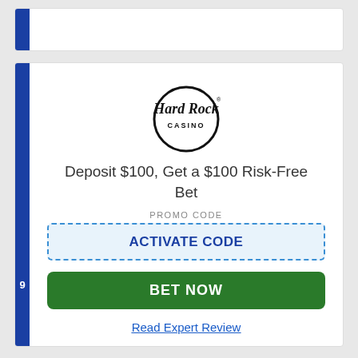[Figure (other): Top card placeholder with blue left bar]
[Figure (logo): Hard Rock Casino logo — circular ring with 'Hard Rock CASINO' text]
Deposit $100, Get a $100 Risk-Free Bet
PROMO CODE
ACTIVATE CODE
BET NOW
Read Expert Review